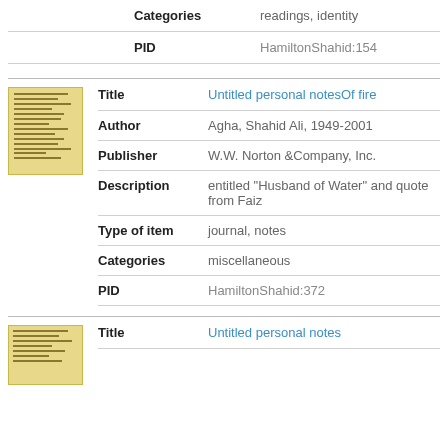| Field | Value |
| --- | --- |
| Categories | readings, identity |
| PID | HamiltonShahid:154 |
[Figure (photo): Small thumbnail of a yellowed handwritten or typed document page]
| Field | Value |
| --- | --- |
| Title | Untitled personal notesOf fire |
| Author | Agha, Shahid Ali, 1949-2001 |
| Publisher | W.W. Norton &Company, Inc. |
| Description | entitled "Husband of Water" and quote from Faiz |
| Type of item | journal, notes |
| Categories | miscellaneous |
| PID | HamiltonShahid:372 |
[Figure (photo): Small thumbnail of a yellowed handwritten or typed document page]
| Field | Value |
| --- | --- |
| Title | Untitled personal notes |